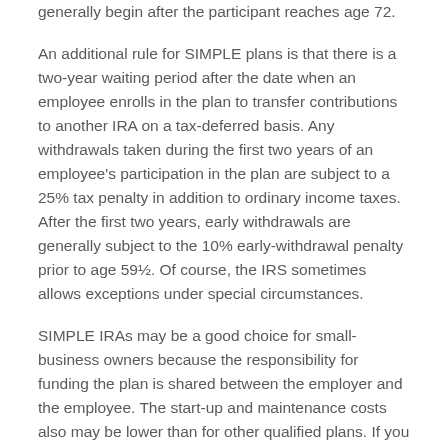generally begin after the participant reaches age 72.
An additional rule for SIMPLE plans is that there is a two-year waiting period after the date when an employee enrolls in the plan to transfer contributions to another IRA on a tax-deferred basis. Any withdrawals taken during the first two years of an employee's participation in the plan are subject to a 25% tax penalty in addition to ordinary income taxes. After the first two years, early withdrawals are generally subject to the 10% early-withdrawal penalty prior to age 59½. Of course, the IRS sometimes allows exceptions under special circumstances.
SIMPLE IRAs may be a good choice for small-business owners because the responsibility for funding the plan is shared between the employer and the employee. The start-up and maintenance costs also may be lower than for other qualified plans. If you are considering whether to establish a